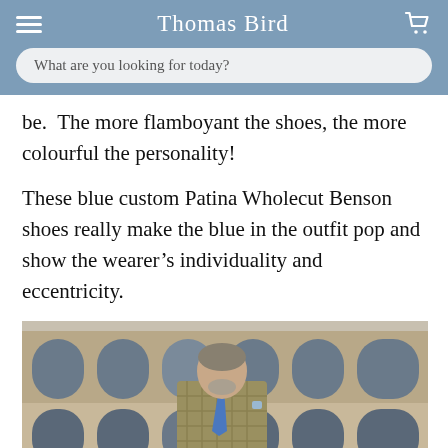Thomas Bird
What are you looking for today?
be.  The more flamboyant the shoes, the more colourful the personality!
These blue custom Patina Wholecut Benson shoes really make the blue in the outfit pop and show the wearer’s individuality and eccentricity.
[Figure (photo): Man in a plaid suit with blue tie standing in front of an ancient Roman arena (Colosseum or similar amphitheatre)]